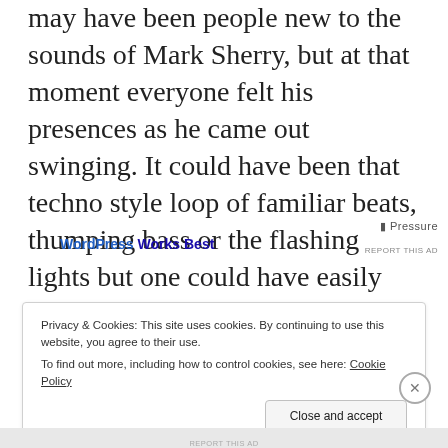may have been people new to the sounds of Mark Sherry, but at that moment everyone felt his presences as he came out swinging. It could have been that techno style loop of familiar beats, thumping bass or the flashing lights but one could have easily gotten lost as Sherry's music surrounded everyone in an enclosed musical bubble.
[Figure (screenshot): Ad banner showing 'WordPress Works Best' text with blue link styling and partial right-side ad text]
Privacy & Cookies: This site uses cookies. By continuing to use this website, you agree to their use. To find out more, including how to control cookies, see here: Cookie Policy
Close and accept